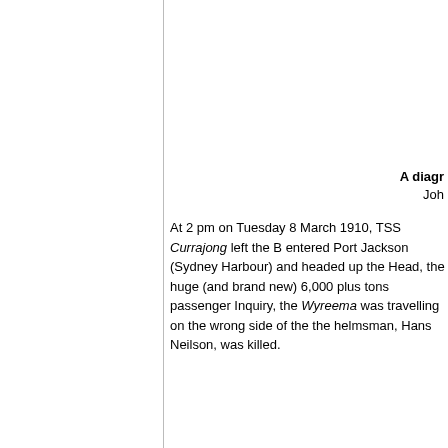A diagr... Joh...
At 2 pm on Tuesday 8 March 1910, TSS Currajong left the B... entered Port Jackson (Sydney Harbour) and headed up the... Head, the huge (and brand new) 6,000 plus tons passenger... Inquiry, the Wyreema was travelling on the wrong side of the... the helmsman, Hans Neilson, was killed.